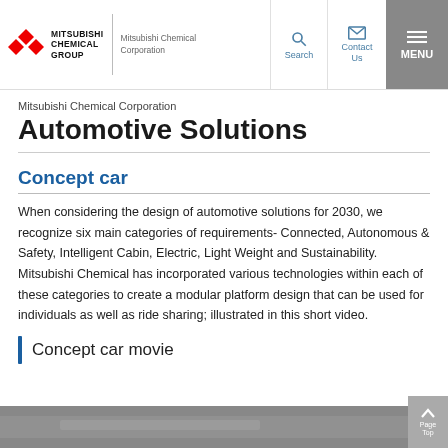MITSUBISHI CHEMICAL GROUP | Mitsubishi Chemical Corporation | Search | Contact Us | MENU
Mitsubishi Chemical Corporation
Automotive Solutions
Concept car
When considering the design of automotive solutions for 2030, we recognize six main categories of requirements- Connected, Autonomous & Safety, Intelligent Cabin, Electric, Light Weight and Sustainability. Mitsubishi Chemical has incorporated various technologies within each of these categories to create a modular platform design that can be used for individuals as well as ride sharing; illustrated in this short video.
Concept car movie
[Figure (photo): Bottom portion of a concept car photo, partially visible]